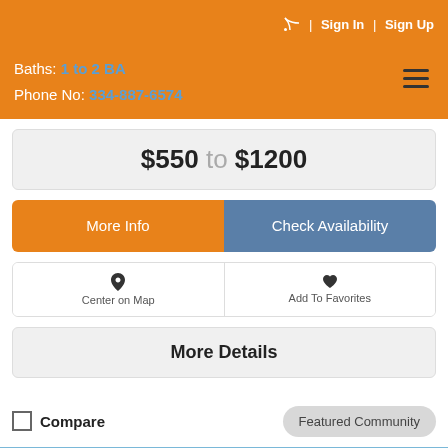RSS | Sign In | Sign Up
Baths: 1 to 2 BA
Phone No: 334-887-6574
$550 to $1200
More Info
Check Availability
Center on Map
Add To Favorites
More Details
Compare
Featured Community
[Figure (photo): Outdoor photo showing trees and blue sky, partial view at bottom of page]